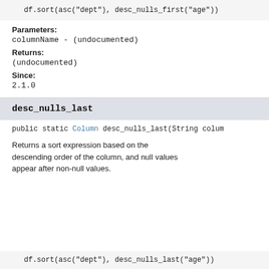df.sort(asc("dept"), desc_nulls_first("age"))
Parameters:
columnName - (undocumented)
Returns:
(undocumented)
Since:
2.1.0
desc_nulls_last
public static Column desc_nulls_last(String colum
Returns a sort expression based on the descending order of the column, and null values appear after non-null values.
df.sort(asc("dept"), desc_nulls_last("age"))